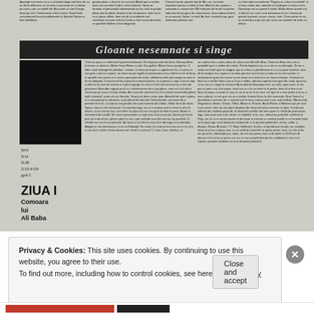[Figure (photo): Scanned Romanian newspaper page with article text columns, a large black image block on the left, title banner reading 'Gloante nesemnate si singe', book cover section labeled 'ZIUA I' with subtitle 'Comoara lui Ali Baba', handwritten annotations, and multiple columns of small Romanian text.]
Gloante nesemnate si singe
Strit Scut N.48 3/10-4/19r pp4-5
ZIUA I
Comoara lui Ali Baba
Privacy & Cookies: This site uses cookies. By continuing to use this website, you agree to their use.
To find out more, including how to control cookies, see here: Cookie Policy
Close and accept